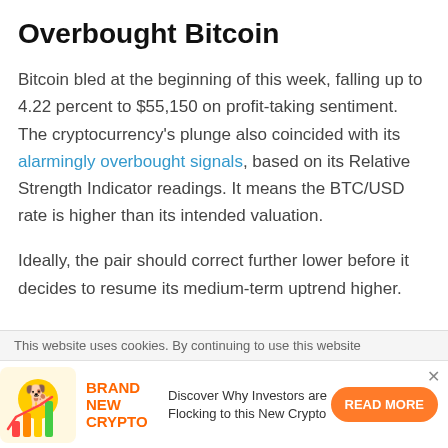Overbought Bitcoin
Bitcoin bled at the beginning of this week, falling up to 4.22 percent to $55,150 on profit-taking sentiment. The cryptocurrency’s plunge also coincided with its alarmingly overbought signals, based on its Relative Strength Indicator readings. It means the BTC/USD rate is higher than its intended valuation.
Ideally, the pair should correct further lower before it decides to resume its medium-term uptrend higher.
This website uses cookies. By continuing to use this website
BRAND NEW CRYPTO  Discover Why Investors are Flocking to this New Crypto  READ MORE